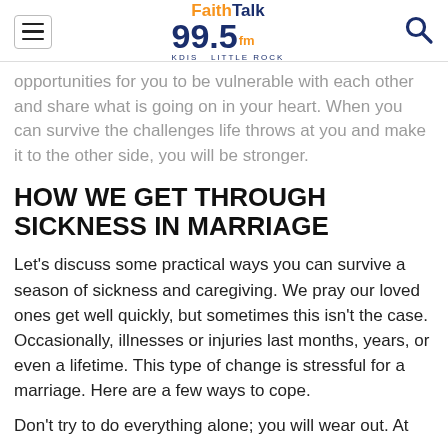FaithTalk 99.5 fm KDIS LITTLE ROCK
…opportunities for you to be vulnerable with each other and share what is going on in your heart. When you can survive the challenges life throws at you and make it to the other side, you will be stronger.
HOW WE GET THROUGH SICKNESS IN MARRIAGE
Let's discuss some practical ways you can survive a season of sickness and caregiving. We pray our loved ones get well quickly, but sometimes this isn't the case. Occasionally, illnesses or injuries last months, years, or even a lifetime. This type of change is stressful for a marriage. Here are a few ways to cope.
Don't try to do everything alone; you will wear out. At